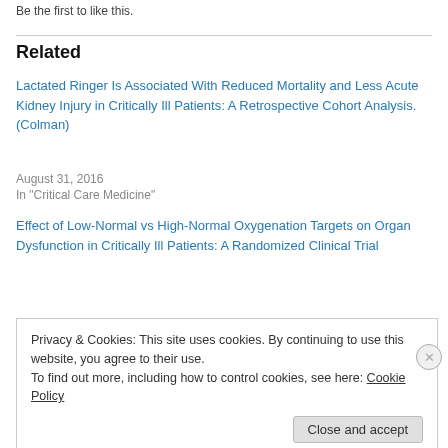Be the first to like this.
Related
Lactated Ringer Is Associated With Reduced Mortality and Less Acute Kidney Injury in Critically Ill Patients: A Retrospective Cohort Analysis. (Colman)
August 31, 2016
In "Critical Care Medicine"
Effect of Low-Normal vs High-Normal Oxygenation Targets on Organ Dysfunction in Critically Ill Patients: A Randomized Clinical Trial
Privacy & Cookies: This site uses cookies. By continuing to use this website, you agree to their use.
To find out more, including how to control cookies, see here: Cookie Policy
Close and accept